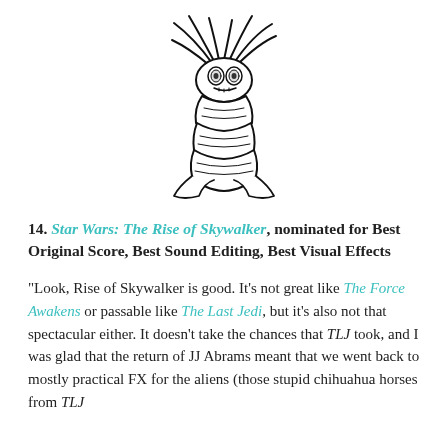[Figure (illustration): Black and white ink drawing of a small alien creature with tentacles/antennae on its head, large eyes, and a round segmented body, resembling a bug-like alien character]
14. Star Wars: The Rise of Skywalker, nominated for Best Original Score, Best Sound Editing, Best Visual Effects
“Look, Rise of Skywalker is good. It’s not great like The Force Awakens or passable like The Last Jedi, but it’s also not that spectacular either. It doesn’t take the chances that TLJ took, and I was glad that the return of JJ Abrams meant that we went back to mostly practical FX for the aliens (those stupid chihuahua horses from TLJ